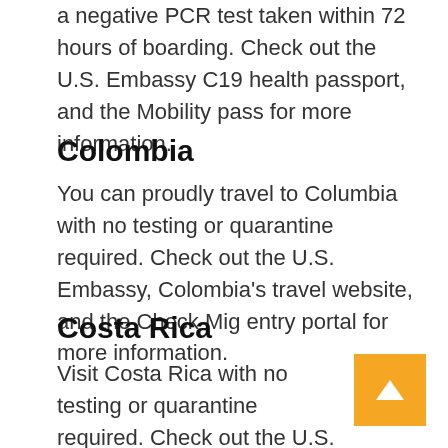a negative PCR test taken within 72 hours of boarding. Check out the U.S. Embassy C19 health passport, and the Mobility pass for more information.
Colombia
You can proudly travel to Columbia with no testing or quarantine required. Check out the U.S. Embassy, Colombia's travel website, and the Check Mig entry portal for more information.
Costa Rica
Visit Costa Rica with no testing or quarantine required. Check out the U.S. Embassy, Visit Costa Rica website, and health pass form for more information.